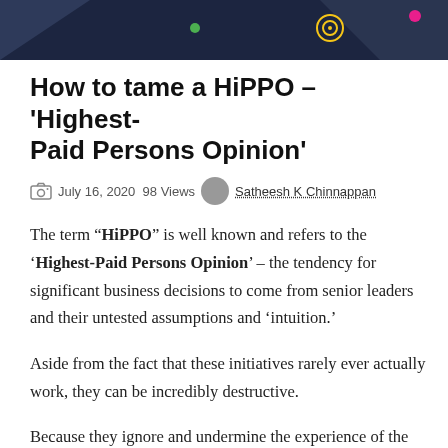[Figure (illustration): Dark navy header banner with orange triangle in top-left corner, decorative colored dots (green, yellow target/bullseye, pink), and a dark geometric shape on the right side.]
How to tame a HiPPO – 'Highest-Paid Persons Opinion'
July 16, 2020  98 Views   Satheesh K Chinnappan
The term "HiPPO" is well known and refers to the 'Highest-Paid Persons Opinion' – the tendency for significant business decisions to come from senior leaders and their untested assumptions and 'intuition.'
Aside from the fact that these initiatives rarely ever actually work, they can be incredibly destructive.
Because they ignore and undermine the experience of the people on the front lines, and the employees who actually do the work.